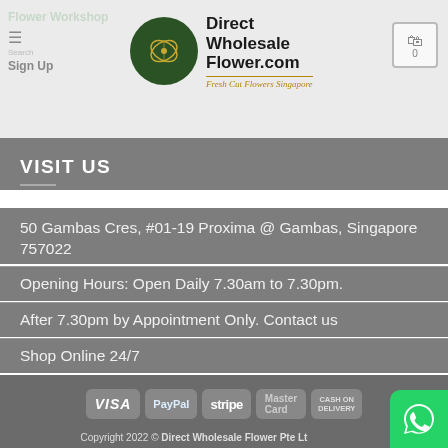Flower Workshop | Direct Wholesale Flower.com | Fresh Cut Flowers Singapore
VISIT US
50 Gambas Cres, #01-19 Proxima @ Gambas, Singapore 757022
Opening Hours: Open Daily 7.30am to 7.30pm.
After 7.30pm by Appointment Only. Contact us
Shop Online 24/7
[Figure (logo): Payment method logos: VISA, PayPal, stripe, MasterCard, CASH ON DELIVERY]
BLOG | Copyright 2022 © Direct Wholesale Flower Pte Ltd